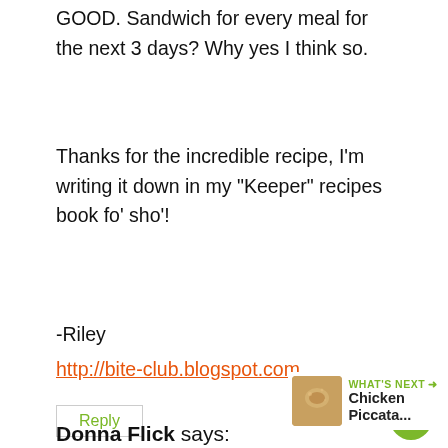GOOD. Sandwich for every meal for the next 3 days? Why yes I think so.
Thanks for the incredible recipe, I'm writing it down in my "Keeper" recipes book fo' sho'!
-Riley
http://bite-club.blogspot.com
Reply
2
WHAT'S NEXT → Chicken Piccata...
Donna Flick says: